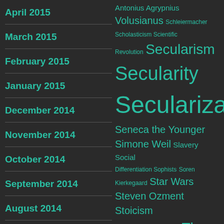April 2015
March 2015
February 2015
January 2015
December 2014
November 2014
October 2014
September 2014
August 2014
Antonius Agrypnius Volusianus Schleiermacher Scholasticism Scientific Revolution Secularism Secularity Secularization Seneca the Younger Simone Weil Slavery Social Differentiation Sophists Soren Kierkegaard Star Wars Steven Ozment Stoicism Temple Tertullian Thales The Brothers Karamazov The Iliad Theodor Adorno Theodoret of